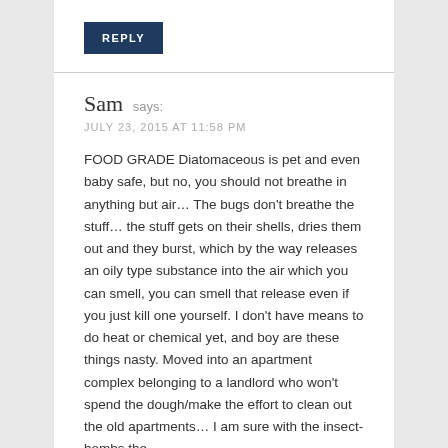REPLY
Sam says:
JULY 23, 2015 AT 11:58 PM
FOOD GRADE Diatomaceous is pet and even baby safe, but no, you should not breathe in anything but air… The bugs don't breathe the stuff… the stuff gets on their shells, dries them out and they burst, which by the way releases an oily type substance into the air which you can smell, you can smell that release even if you just kill one yourself. I don't have means to do heat or chemical yet, and boy are these things nasty. Moved into an apartment complex belonging to a landlord who won't spend the dough/make the effort to clean out the old apartments… I am sure with the insect-bombs the